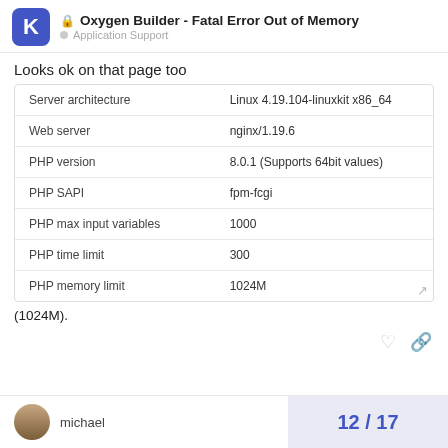Oxygen Builder - Fatal Error Out of Memory — Application Support
Looks ok on that page too
|  |  |
| --- | --- |
| Server architecture | Linux 4.19.104-linuxkit x86_64 |
| Web server | nginx/1.19.6 |
| PHP version | 8.0.1 (Supports 64bit values) |
| PHP SAPI | fpm-fcgi |
| PHP max input variables | 1000 |
| PHP time limit | 300 |
| PHP memory limit | 1024M |
(1024M).
michael
12 / 17